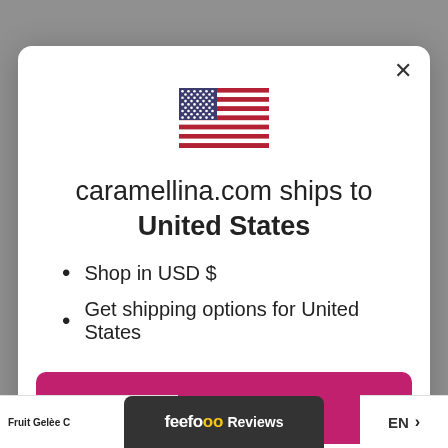[Figure (illustration): US flag emoji/icon centered in modal dialog]
caramellina.com ships to United States
Shop in USD $
Get shipping options for United States
Shop now
Change shipping country
Fruit Gelèe ...
[Figure (logo): Feefo Reviews logo bar at bottom]
EN >